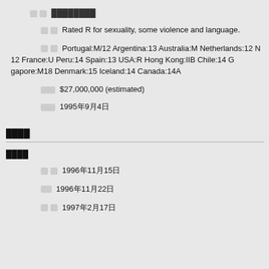██ ████████
██ Rated R for sexuality, some violence and language.
██ Portugal:M/12 Argentina:13 Australia:M Netherlands:12 N... 12 France:U Peru:14 Spain:13 USA:R Hong Kong:IIB Chile:14 G... gapore:M18 Denmark:15 Iceland:14 Canada:14A
████ $27,000,000 (estimated)
████ 1995年9月4日
████
████
██ 1996年11月15日
███ 1996年11月22日
██ 1997年2月17日